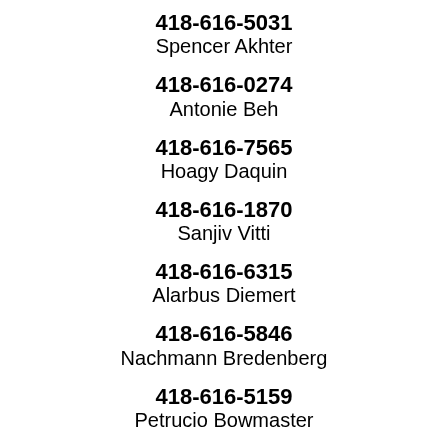418-616-5031
Spencer Akhter
418-616-0274
Antonie Beh
418-616-7565
Hoagy Daquin
418-616-1870
Sanjiv Vitti
418-616-6315
Alarbus Diemert
418-616-5846
Nachmann Bredenberg
418-616-5159
Petrucio Bowmaster
418-616-1253
Fyorellee Langwell
418-616-8720
Ashoshok Jillson